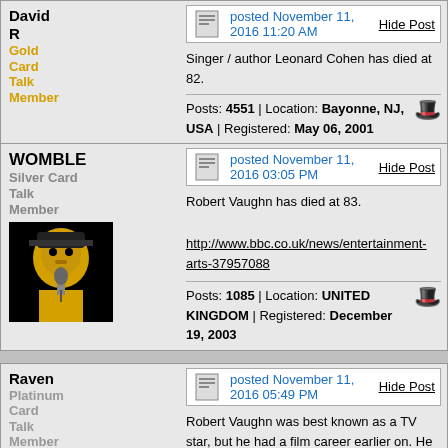David R — Gold Card Talk Member — posted November 11, 2016 11:20 AM — Singer / author Leonard Cohen has died at 82. — Posts: 4551 | Location: Bayonne, NJ, USA | Registered: May 06, 2001
WOMBLE — Silver Card Talk Member — posted November 11, 2016 03:05 PM — Robert Vaughn has died at 83. http://www.bbc.co.uk/news/entertainment-arts-37957088 — Posts: 1085 | Location: UNITED KINGDOM | Registered: December 19, 2003
Raven — Platinum Card Talk Member — posted November 11, 2016 05:49 PM — Robert Vaughn was best known as a TV star, but he had a film career earlier on. He was the last living member of the original Magnificent Seven gunfighters that included Charles Bronson, Yul Brynner, Steve McQueen, James Coburn, Horst Buchholz and Brad Dexter. Eli Wallach as